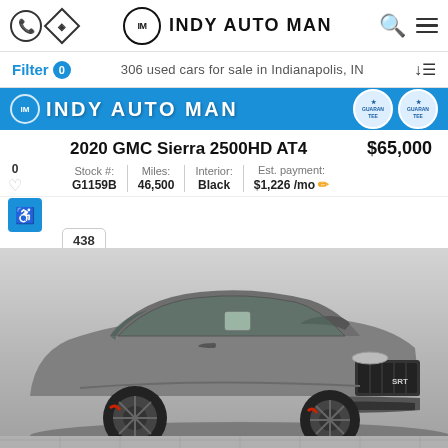INDY AUTO MAN
Filter 0  306 used cars for sale in Indianapolis, IN
[Figure (screenshot): Blue banner with Indy Auto Man logo and two Guarantee badges]
2020 GMC Sierra 2500HD AT4
$65,000
Stock #: G1159B | Miles: 46,500 | Interior: Black | Est. payment: $1,226/mo
0  438  Compare
[Figure (photo): Gray Dodge Charger SRT muscle car photographed from front-left angle in a dealership showroom]